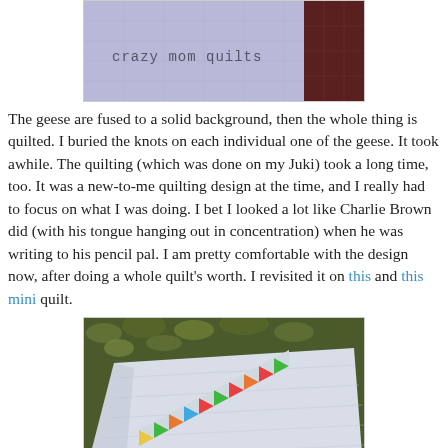[Figure (photo): Top partial photo showing a light purple/lavender quilted fabric with 'crazy mom quilts' written in monospace text, and a dark reddish-brown fabric piece visible on the right side.]
The geese are fused to a solid background, then the whole thing is quilted. I buried the knots on each individual one of the geese. It took awhile. The quilting (which was done on my Juki) took a long time, too. It was a new-to-me quilting design at the time, and I really had to focus on what I was doing. I bet I looked a lot like Charlie Brown did (with his tongue hanging out in concentration) when he was writing to his pencil pal. I am pretty comfortable with the design now, after doing a whole quilt's worth. I revisited it on this and this mini quilt.
[Figure (photo): Bottom photo showing a white quilted fabric laid on an outdoor surface with autumn leaves visible in the background. The quilt features a row of small colorful triangular flying geese shapes in red, green, orange, yellow, and other colors arranged diagonally across the lower portion of the quilt.]